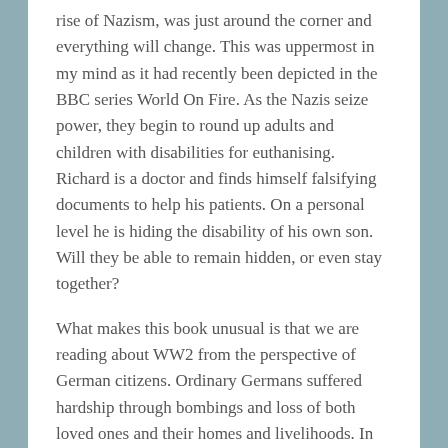rise of Nazism, was just around the corner and everything will change. This was uppermost in my mind as it had recently been depicted in the BBC series World On Fire. As the Nazis seize power, they begin to round up adults and children with disabilities for euthanising. Richard is a doctor and finds himself falsifying documents to help his patients. On a personal level he is hiding the disability of his own son. Will they be able to remain hidden, or even stay together?
What makes this book unusual is that we are reading about WW2 from the perspective of German citizens. Ordinary Germans suffered hardship through bombings and loss of both loved ones and their homes and livelihoods. In 2014 a memorial was unveiled in Berlin to commemorate the 300,000 German people killed by the Nazis. That's without counting those in Poland, Austria and other occupied countries. The book ends Part...